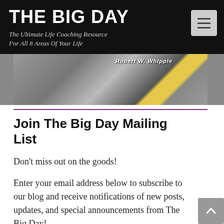THE BIG DAY
The Ultimate Life Coaching Resource For All 8 Areas Of Your Life
[Figure (photo): Partial view of a book or publication with a yellow cord/rope, text partially visible reading 'Robert W. Whipple']
Join The Big Day Mailing List
Don't miss out on the goods!
Enter your email address below to subscribe to our blog and receive notifications of new posts, updates, and special announcements from The Big Day!